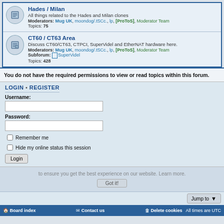Hades / Milan
All things related to the Hades and Milan clones
Moderators: Mug UK, moondog/.tSCc., lp, [ProToS], Moderator Team
Topics: 75
CT60 / CT63 Area
Discuss CT60/CT63, CTPCI, SuperVidel and EtherNAT hardware here.
Moderators: Mug UK, moondog/.tSCc., lp, [ProToS], Moderator Team
Subforum: SuperVidel
Topics: 428
You do not have the required permissions to view or read topics within this forum.
LOGIN • REGISTER
Username:
Password:
Remember me
Hide my online status this session
Login
Jump to
Board index   Contact us   Delete cookies   All times are UTC